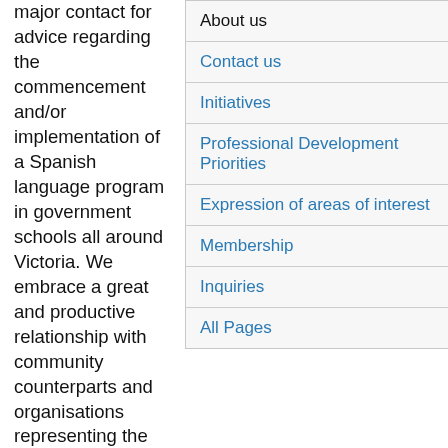major contact for advice regarding the commencement and/or implementation of a Spanish language program in government schools all around Victoria. We embrace a great and productive relationship with community counterparts and organisations representing the Spanish speaking world such as the consulates of Ecuador, El Salvador, Mexico, Argentina, Peru and those from other varied Spanish speaking nations as well as local and international education related institutions and individuals. From its beginning VATS has been delivering professional development to support school language teachers to implement and deliver a Spanish language programs. Every year, VATS strives for identifying the professional learning
About us
Contact us
Initiatives
Professional Development Priorities
Expression of areas of interest
Membership
Inquiries
All Pages